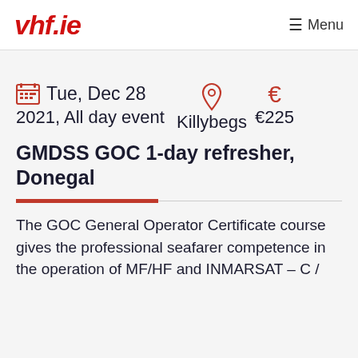vhf.ie  Menu
Tue, Dec 28 2021, All day event  Killybegs  €225
GMDSS GOC 1-day refresher, Donegal
The GOC General Operator Certificate course gives the professional seafarer competence in the operation of MF/HF and INMARSAT – C /